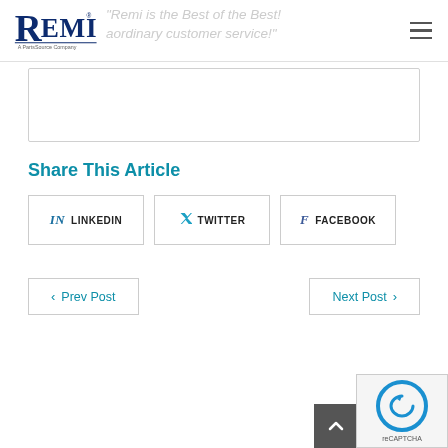REMI - A PartsSource Company
"Remi is the Best of the Best! ...ordinary customer service!"
Share This Article
in LINKEDIN | Twitter TWITTER | f FACEBOOK
< Prev Post   Next Post >